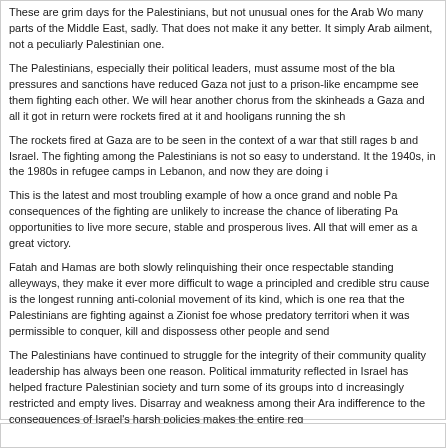These are grim days for the Palestinians, but not unusual ones for the Arab Wo many parts of the Middle East, sadly. That does not make it any better. It simply Arab ailment, not a peculiarly Palestinian one.
The Palestinians, especially their political leaders, must assume most of the bla pressures and sanctions have reduced Gaza not just to a prison-like encampme see them fighting each other. We will hear another chorus from the skinheads a Gaza and all it got in return were rockets fired at it and hooligans running the sh
The rockets fired at Gaza are to be seen in the context of a war that still rages b and Israel. The fighting among the Palestinians is not so easy to understand. It the 1940s, in the 1980s in refugee camps in Lebanon, and now they are doing i
This is the latest and most troubling example of how a once grand and noble Pa consequences of the fighting are unlikely to increase the chance of liberating Pa opportunities to live more secure, stable and prosperous lives. All that will emer as a great victory.
Fatah and Hamas are both slowly relinquishing their once respectable standing alleyways, they make it ever more difficult to wage a principled and credible stru cause is the longest running anti-colonial movement of its kind, which is one rea that the Palestinians are fighting against a Zionist foe whose predatory territori when it was permissible to conquer, kill and dispossess other people and send
The Palestinians have continued to struggle for the integrity of their community quality leadership has always been one reason. Political immaturity reflected in Israel has helped fracture Palestinian society and turn some of its groups into d increasingly restricted and empty lives. Disarray and weakness among their Ara indifference to the consequences of Israel's harsh policies makes the entire reg
This is a dark day for the Palestinians, but not the end of the line. When they hi regain their cohesion and credibility, and their self-respect. From the rubble of t recognize soon that living in a tree house is exciting for a nine-year-old child bu stopped and reversed soon.
August 5th, 2008, 11:58 pm